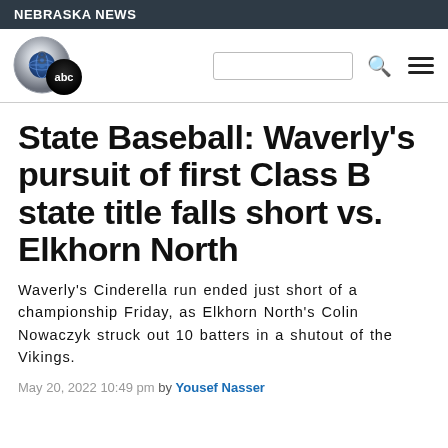NEBRASKA NEWS
[Figure (logo): KETV Channel 8 ABC logo — silver '8' with blue globe and black ABC circle]
State Baseball: Waverly's pursuit of first Class B state title falls short vs. Elkhorn North
Waverly's Cinderella run ended just short of a championship Friday, as Elkhorn North's Colin Nowaczyk struck out 10 batters in a shutout of the Vikings.
May 20, 2022 10:49 pm by Yousef Nasser